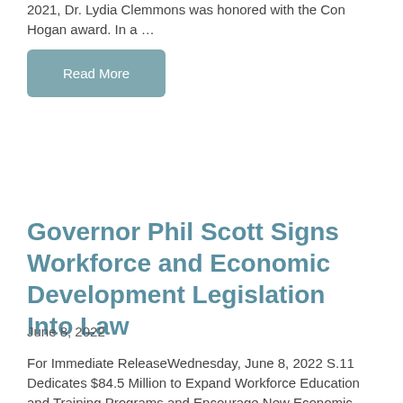2021, Dr. Lydia Clemmons was honored with the Con Hogan award. In a …
[Figure (other): Read More button — a rounded rectangular button with muted teal/blue-grey background and white text reading 'Read More']
Governor Phil Scott Signs Workforce and Economic Development Legislation Into Law
June 8, 2022
For Immediate ReleaseWednesday, June 8, 2022 S.11 Dedicates $84.5 Million to Expand Workforce Education and Training Programs and Encourage New Economic Development